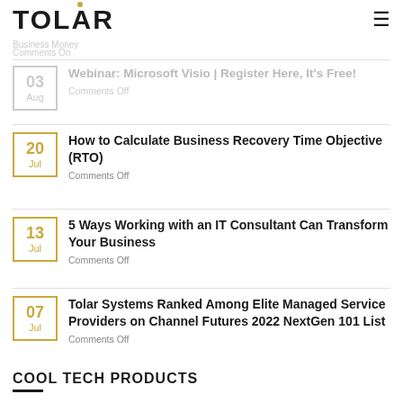[Figure (logo): TOLAR logo in bold black text with a small gold dot above the A, and a hamburger menu icon on the right]
Business Money
Comments On
Webinar: Microsoft Visio | Register Here, It's Free!
Comments Off
20 Jul
How to Calculate Business Recovery Time Objective (RTO)
Comments Off
13 Jul
5 Ways Working with an IT Consultant Can Transform Your Business
Comments Off
07 Jul
Tolar Systems Ranked Among Elite Managed Service Providers on Channel Futures 2022 NextGen 101 List
Comments Off
COOL TECH PRODUCTS